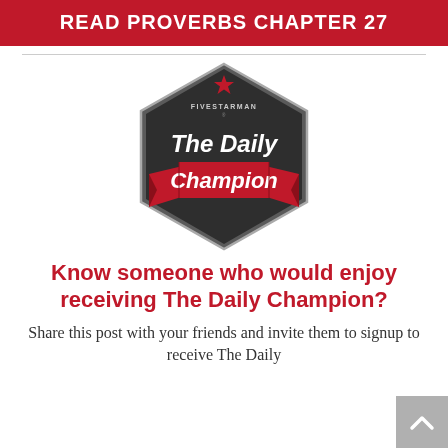READ PROVERBS CHAPTER 27
[Figure (logo): The Daily Champion hexagonal badge logo by Fivestarman, dark grey hexagon with red ribbon banner and white bold text reading 'The Daily Champion']
Know someone who would enjoy receiving The Daily Champion?
Share this post with your friends and invite them to signup to receive The Daily